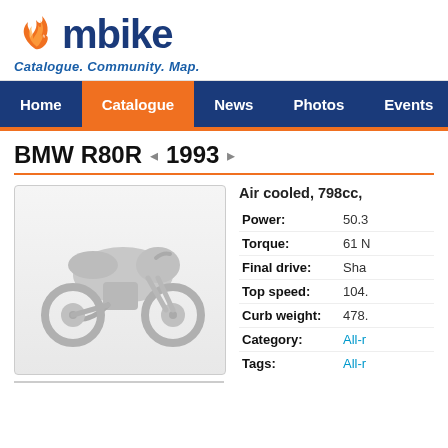mbike — Catalogue. Community. Map.
Home | Catalogue | News | Photos | Events | Co...
BMW R80R ◂ 1993 ▸
[Figure (illustration): Silhouette/placeholder image of a motorcycle in light gray on a white/light gray background]
Air cooled, 798cc,
| Attribute | Value |
| --- | --- |
| Power: | 50.3 |
| Torque: | 61 N |
| Final drive: | Sha |
| Top speed: | 104. |
| Curb weight: | 478. |
| Category: | All-r |
| Tags: | All-r |